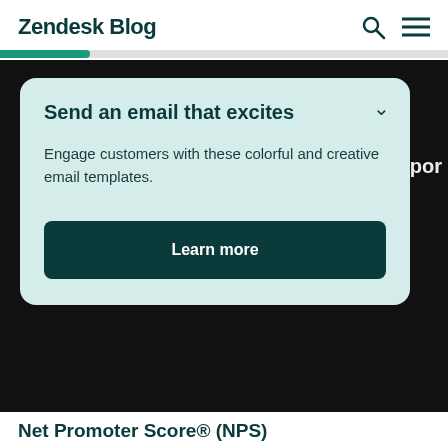Zendesk Blog
[Figure (screenshot): Progress bar with green fill on grey background]
Send an email that excites
Engage customers with these colorful and creative email templates.
Learn more
Net Promoter Score® (NPS)